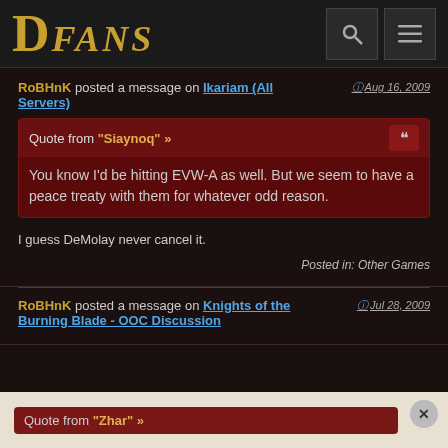DFANS
RoBHnK posted a message on Ikariam (All Servers) — Aug 16, 2009
Quote from "Siaynoq" »
You know I'd be hitting EVW-A as well. But we seem to have a peace treaty with them for whatever odd reason.
I guess DeMolay never cancel it.
Posted in: Other Games
RoBHnK posted a message on Knights of the Burning Blade - OOC Discussion — Jul 28, 2009
Quote from "Zhar" »